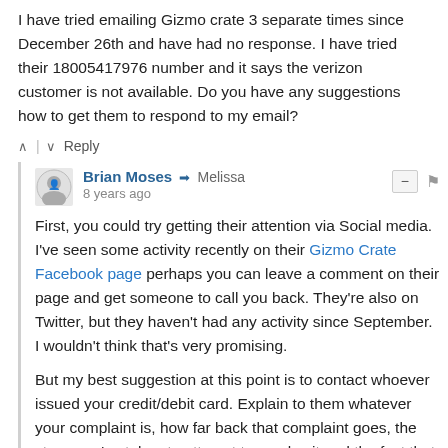I have tried emailing Gizmo crate 3 separate times since December 26th and have had no response. I have tried their 18005417976 number and it says the verizon customer is not available. Do you have any suggestions how to get them to respond to my email?
^ | ∨ Reply
Brian Moses → Melissa
8 years ago
First, you could try getting their attention via Social media. I've seen some activity recently on their Gizmo Crate Facebook page perhaps you can leave a comment on their page and get someone to call you back. They're also on Twitter, but they haven't had any activity since September. I wouldn't think that's very promising.
But my best suggestion at this point is to contact whoever issued your credit/debit card. Explain to them whatever your complaint is, how far back that complaint goes, the steps you've taken to attempt to resolve it and the fact that Gizmo Crate is refusing to return emails or answer their phone. At this point, I think you'll find your credit card company more interested in helping you